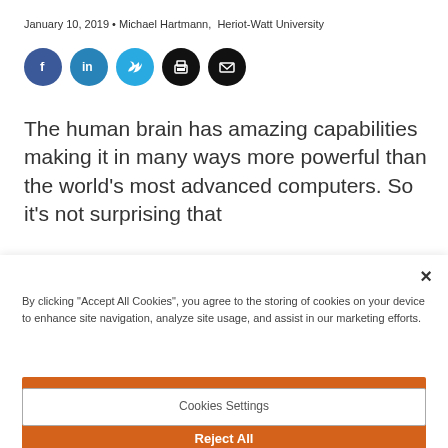January 10, 2019 • Michael Hartmann,  Heriot-Watt University
[Figure (infographic): Social sharing icons: Facebook (dark blue circle), LinkedIn (blue circle), Twitter (light blue circle), Print (black circle), Email (black circle)]
The human brain has amazing capabilities making it in many ways more powerful than the world's most advanced computers. So it's not surprising that
×
By clicking "Accept All Cookies", you agree to the storing of cookies on your device to enhance site navigation, analyze site usage, and assist in our marketing efforts.
Accept All Cookies
Reject All
Cookies Settings